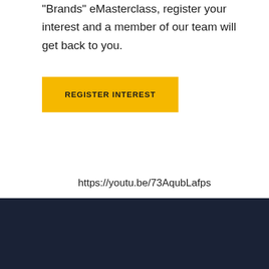“Brands” eMasterclass, register your interest and a member of our team will get back to you.
REGISTER INTEREST
https://youtu.be/73AqubLafps
Event has been held
0 DAY  0 HOUR  0 MINUTE  0 SECONDS